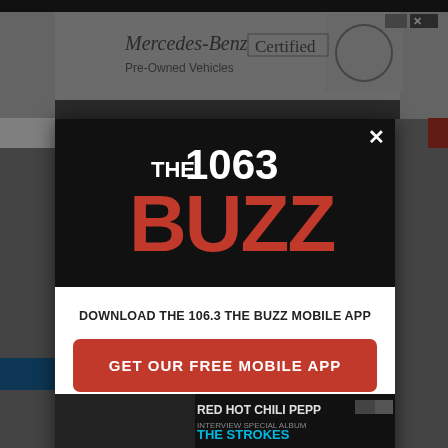[Figure (screenshot): Screenshot of a website with a modal popup for '106.3 The Buzz' radio station app download. Background shows a Mercedes-Benz Certified Pre-Owned Vehicles advertisement banner at the top. The modal has a black header with the '106.3 THE BUZZ' logo in red and white, a white body with text 'DOWNLOAD THE 106.3 THE BUZZ MOBILE APP', a red 'GET OUR FREE MOBILE APP' button, and 'Also listen on: amazon alexa' text with Alexa icon. Bottom shows a partial Red Hot Chili Peppers/The Strokes advertisement banner.]